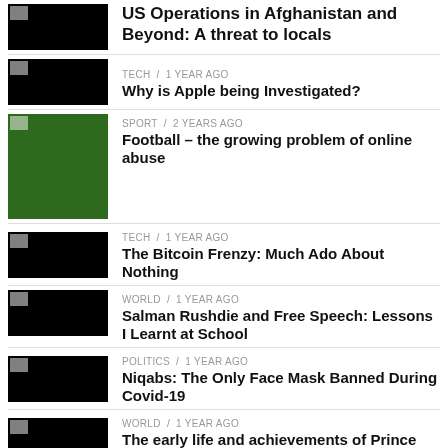US Operations in Afghanistan and Beyond: A threat to locals
TECH / 1 year ago
Why is Apple being Investigated?
SPORT / 2 years ago
Football – the growing problem of online abuse
TECH / 1 year ago
The Bitcoin Frenzy: Much Ado About Nothing
WORLD / 1 year ago
Salman Rushdie and Free Speech: Lessons I Learnt at School
POLITICS / 1 year ago
Niqabs: The Only Face Mask Banned During Covid-19
WORLD / 1 year ago
The early life and achievements of Prince Philip
POLITICS / 2 years ago
Freeing the Shackled Woman – the Need for Intersectional Feminism